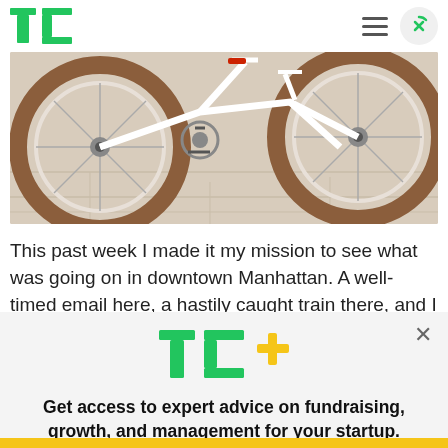TechCrunch
[Figure (photo): Close-up photo of a white bicycle with brown/tan tires on a light wood floor]
This past week I made it my mission to see what was going on in downtown Manhattan. A well-timed email here, a hastily caught train there, and I found
[Figure (logo): TC+ logo with TechCrunch green T and C letters followed by a yellow/gold plus sign]
Get access to expert advice on fundraising, growth, and management for your startup.
EXPLORE NOW